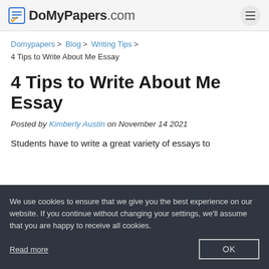DoMyPapers.com
Domypapers > Blog > Writing Tips > 4 Tips to Write About Me Essay
4 Tips to Write About Me Essay
Posted by Kimberly Austin on November 14 2021
Students have to write a great variety of essays to demonstrate their skills and prove their knowledge. E...
We use cookies to ensure that we give you the best experience on our website. If you continue without changing your settings, we'll assume that you are happy to receive all cookies.
Read more
write about themselves. It is a composition about you